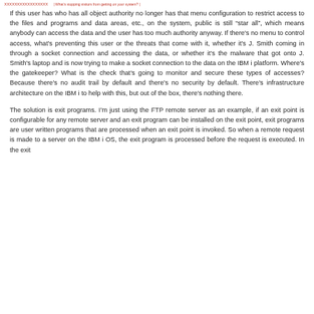What's stopping visitors from getting on your system?
If this user has who has all object authority no longer has that menu configuration to restrict access to the files and programs and data areas, etc., on the system, public is still “star all”, which means anybody can access the data and the user has too much authority anyway. If there’s no menu to control access, what’s preventing this user or the threats that come with it, whether it’s J. Smith coming in through a socket connection and accessing the data, or whether it’s the malware that got onto J. Smith’s laptop and is now trying to make a socket connection to the data on the IBM i platform. Where’s the gatekeeper? What is the check that’s going to monitor and secure these types of accesses? Because there’s no audit trail by default and there’s no security by default. There’s infrastructure architecture on the IBM i to help with this, but out of the box, there’s nothing there.
The solution is exit programs. I’m just using the FTP remote server as an example, if an exit point is configurable for any remote server and an exit program can be installed on the exit point, exit programs are user written programs that are processed when an exit point is invoked. So when a remote request is made to a server on the IBM i OS, the exit program is processed before the request is executed. In the exit